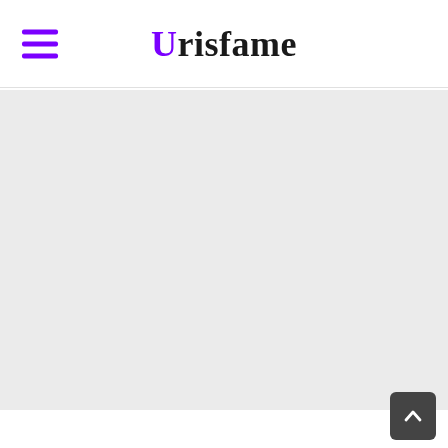Urisfame
[Figure (screenshot): Grey empty main content area]
[Figure (other): Scroll-to-top button in bottom right corner]